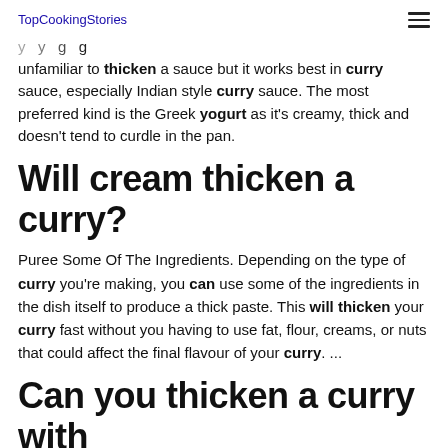TopCookingStories
unfamiliar to thicken a sauce but it works best in curry sauce, especially Indian style curry sauce. The most preferred kind is the Greek yogurt as it's creamy, thick and doesn't tend to curdle in the pan.
Will cream thicken a curry?
Puree Some Of The Ingredients. Depending on the type of curry you're making, you can use some of the ingredients in the dish itself to produce a thick paste. This will thicken your curry fast without you having to use fat, flour, creams, or nuts that could affect the final flavour of your curry. ...
Can you thicken a curry with